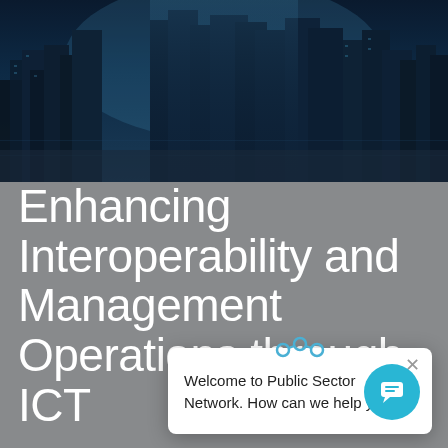[Figure (photo): Dark blue cityscape with illuminated skyscrapers at night, futuristic tones]
Enhancing Interoperability and Management Operations through ICT
[Figure (screenshot): Chat popup widget with message: Welcome to Public Sector Network. How can we help you?]
[Figure (other): Teal circular chat FAB button with chat icon]